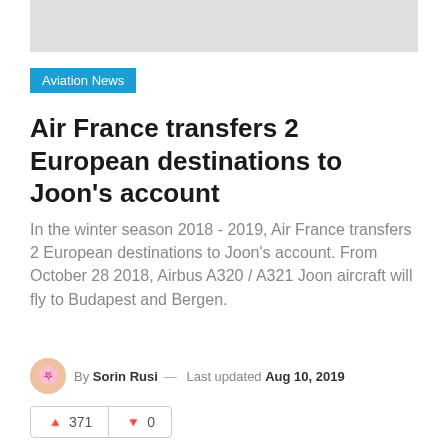[Figure (other): Gray placeholder image bar at top of page]
Aviation News
Air France transfers 2 European destinations to Joon's account
In the winter season 2018 - 2019, Air France transfers 2 European destinations to Joon's account. From October 28 2018, Airbus A320 / A321 Joon aircraft will fly to Budapest and Bergen.
By Sorin Rusi — Last updated Aug 10, 2019
371  0
Share  Facebook  Twitter  WhatsApp
Starting with October 28, 2018, Joon will fly on 2 medium-courier routes in Europe: Paris, Budapest and